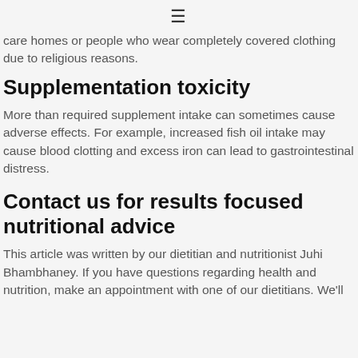≡
care homes or people who wear completely covered clothing due to religious reasons.
Supplementation toxicity
More than required supplement intake can sometimes cause adverse effects. For example, increased fish oil intake may cause blood clotting and excess iron can lead to gastrointestinal distress.
Contact us for results focused nutritional advice
This article was written by our dietitian and nutritionist Juhi Bhambhaney. If you have questions regarding health and nutrition, make an appointment with one of our dietitians. We'll